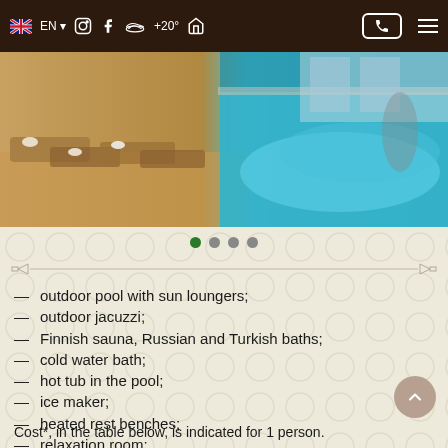[Figure (screenshot): Navigation bar with UK flag, EN language selector, Instagram icon, Facebook icon, cloud weather +20° icon, home icon, phone button, and hamburger menu on dark brown background]
[Figure (photo): Hotel spa area showing sun loungers on left side and indoor swimming pool with blue water on right side]
[Figure (other): Carousel indicator dots: first dot green (active), three dots grey]
outdoor pool with sun loungers;
outdoor jacuzzi;
Finnish sauna, Russian and Turkish baths;
cold water bath;
hot tub in the pool;
ice maker;
heated rest benches;
relaxation room;
summer terrace;
shower of impressions;
gym;
phytobar;
salt cave.
Cost*, in the table below, is indicated for 1 person.